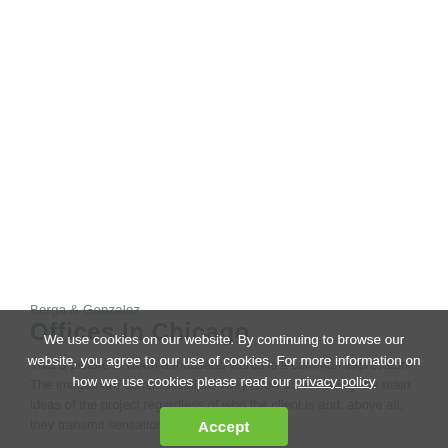[Figure (photo): White/blank photo area at the top of the page]
Berga & Gonzalez
Offices In Chicago
That a picture is worth a thousand words is a common expression. The images are communication. They allow us to convey the main ideas of the project regardless of who the client is and, above all, they transmit sensations.
We use cookies on our website. By continuing to browse our website, you agree to our use of cookies. For more information on how we use cookies please read our privacy policy
Accept